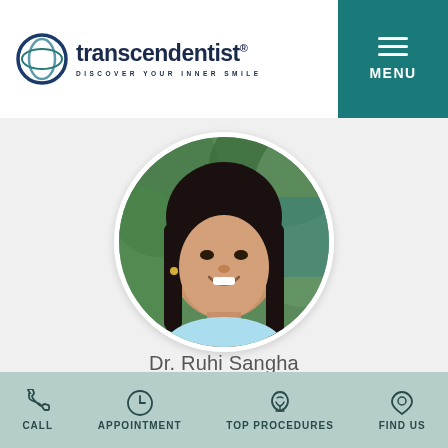transcendentist® DISCOVER YOUR INNER SMILE
[Figure (photo): Circular headshot photo of Dr. Ruhi Sangha, a woman with long dark hair, smiling, with green foliage background]
Dr. Ruhi Sangha
TRANSCENDENTIST
We use cookies to enhance your experience. By continuing to use our website, you consent to our use of cookies.
Got It
Dr. Praj... considers it a privilege to be
CALL   APPOINTMENT   TOP PROCEDURES   FIND US